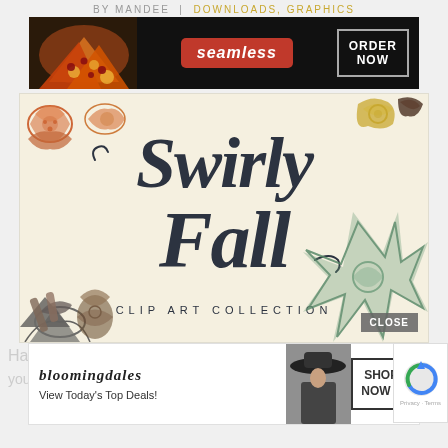BY MANDEE | DOWNLOADS, GRAPHICS
[Figure (photo): Seamless food delivery advertisement banner showing pizza slices on left, red Seamless logo badge in center, ORDER NOW button in white box on right, dark background]
[Figure (illustration): Swirly Fall Clip Art Collection promotional image on cream background with decorative botanical/mandala elements in orange, green, and dark brown in corners, featuring ornate calligraphic script text reading 'Swirly Fall' with CLIP ART COLLECTION subtitle, and a CLOSE button]
Hallow
you've
[Figure (photo): Bloomingdale's advertisement banner showing the Bloomingdale's logo in italic script, 'View Today's Top Deals!' tagline, fashion model wearing a wide-brim hat, and SHOP NOW > button in bordered box]
[Figure (logo): reCAPTCHA badge with blue and green circular logo and Privacy Terms text]